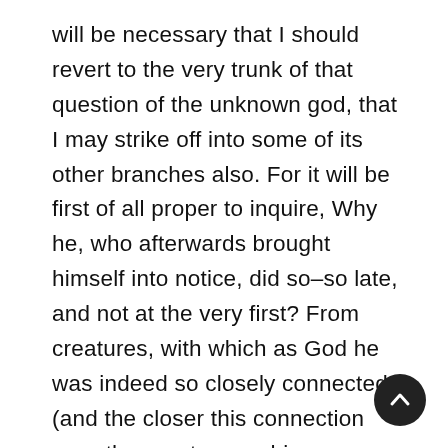will be necessary that I should revert to the very trunk of that question of the unknown god, that I may strike off into some of its other branches also. For it will be first of all proper to inquire, Why he, who afterwards brought himself into notice, did so–so late, and not at the very first? From creatures, with which as God he was indeed so closely connected (and the closer this connection was, the greater was his goodness), he ought never to have been hidden. For it cannot be pretended that there was not either any means of arriving at the knowledge of God, or a good reason for it, when from the beginning man was in the world, for whom the deliverance is now come; as was also that malevolence of the Creator, in opposition to which the good God wrought the deliverance. He was therefore either